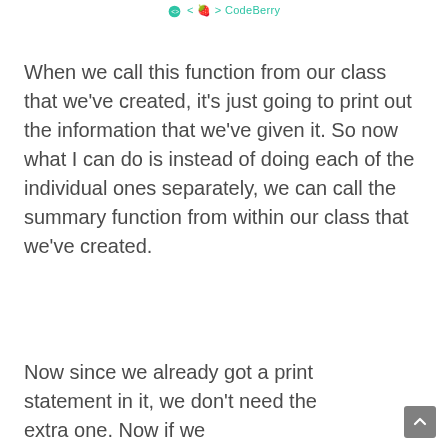< 🍓 > CodeBerry
When we call this function from our class that we've created, it's just going to print out the information that we've given it. So now what I can do is instead of doing each of the individual ones separately, we can call the summary function from within our class that we've created.
Now since we already got a print statement in it, we don't need the extra one. Now if we